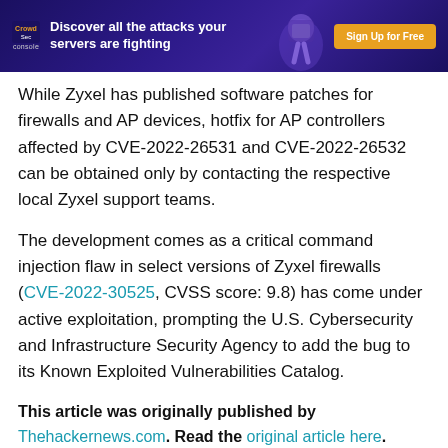[Figure (infographic): CrowdSec console advertisement banner with dark purple background, logo on left, text 'Discover all the attacks your servers are fighting', and 'Sign Up for Free' orange button on right, with a decorative figure illustration in the middle-right area.]
While Zyxel has published software patches for firewalls and AP devices, hotfix for AP controllers affected by CVE-2022-26531 and CVE-2022-26532 can be obtained only by contacting the respective local Zyxel support teams.
The development comes as a critical command injection flaw in select versions of Zyxel firewalls (CVE-2022-30525, CVSS score: 9.8) has come under active exploitation, prompting the U.S. Cybersecurity and Infrastructure Security Agency to add the bug to its Known Exploited Vulnerabilities Catalog.
This article was originally published by Thehackernews.com. Read the original article here.
Products You May Like